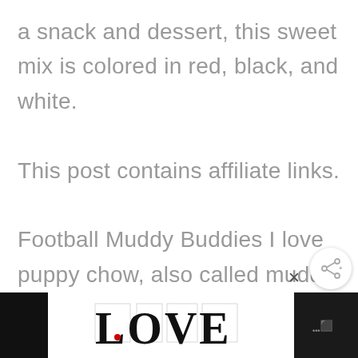a snack and dessert, this sweet mix is colored in red, black, and white. This post contains affiliate links. Football Muddy Buddies I love puppy chow, also called muddy buddies, for all the different flavors you can use.  It brings me back to my childhood!  I am also making a
[Figure (other): Share button icon (circular white button with share/network icon)]
[Figure (other): What's Next widget showing Hatch Pork Green Chili with a food thumbnail image, green label 'WHAT'S NEXT' with arrow, and bold title text]
[Figure (other): Advertisement bar at bottom: black panels on left and right, white center with decorative LOVE text logo in black with intricate patterns, close X button, and speaker/audio icon on right]